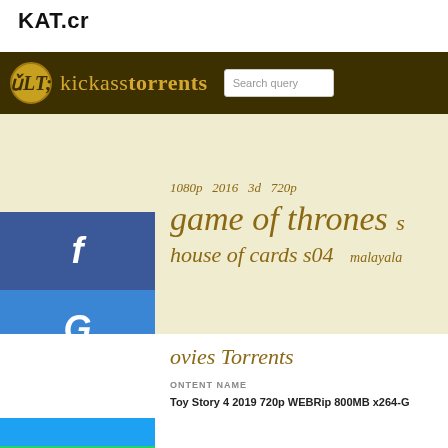KAT.cr
[Figure (screenshot): Screenshot of KAT.cr (KickassTorrents) website showing the site header with logo and search bar, a tag cloud area with terms like '1080p', '2016', 'game of thrones', 'house of cards s04', social share buttons (Facebook, Google+, Twitter, WhatsApp) on the left, and a movies torrents listing section showing 'Toy Story 4 2019 720p WEBRip 800MB x264-G' as a result row.]